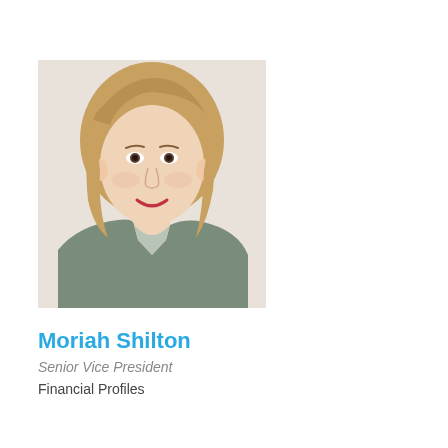[Figure (photo): Professional headshot of a woman with short blonde hair, wearing a grey blazer, smiling, against a light background.]
Moriah Shilton
Senior Vice President
Financial Profiles